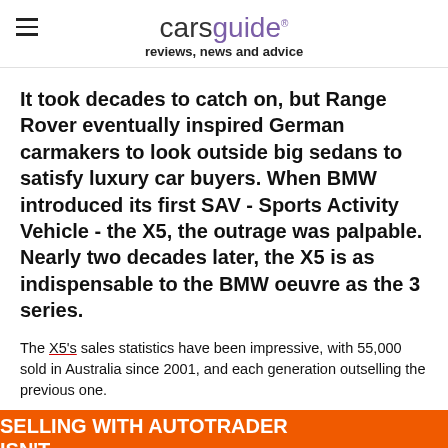carsguide reviews, news and advice
It took decades to catch on, but Range Rover eventually inspired German carmakers to look outside big sedans to satisfy luxury car buyers. When BMW introduced its first SAV - Sports Activity Vehicle - the X5, the outrage was palpable. Nearly two decades later, the X5 is as indispensable to the BMW oeuvre as the 3 series.
The X5's sales statistics have been impressive, with 55,000 sold in Australia since 2001, and each generation outselling the previous one.
The fourth-generation X5 has arrived in Australia, with two diesels now and a petrol arriving early in 2019, before four-cylinder, drive over the
SELLING WITH AUTOTRADER ISN'T